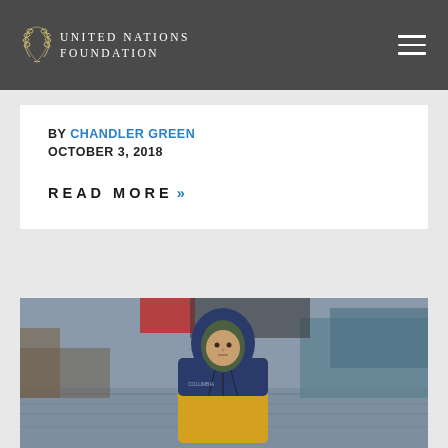UNITED NATIONS FOUNDATION
BY CHANDLER GREEN
OCTOBER 3, 2018
READ MORE >>
[Figure (photo): A young person wearing a yellow and navy hooded rain jacket standing in a flooded street or refugee camp with water covering the ground and structures visible in the background.]